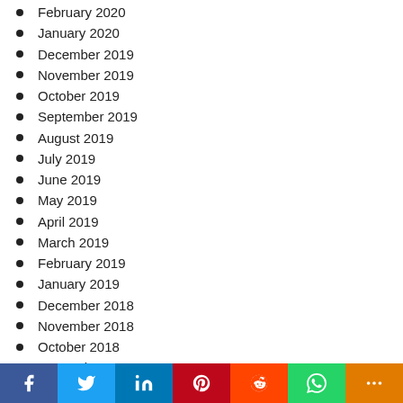February 2020
January 2020
December 2019
November 2019
October 2019
September 2019
August 2019
July 2019
June 2019
May 2019
April 2019
March 2019
February 2019
January 2019
December 2018
November 2018
October 2018
September 2018
August 2018
July 2018
[Figure (other): Social sharing bar with Facebook, Twitter, LinkedIn, Pinterest, Reddit, WhatsApp, and More buttons]